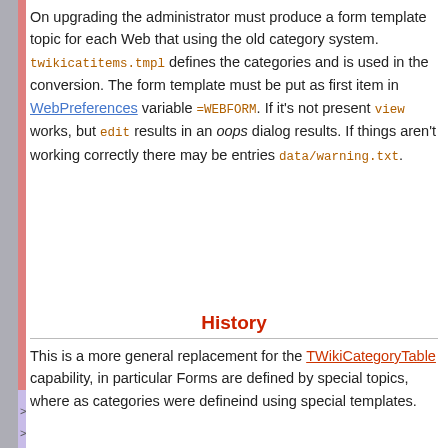On upgrading the administrator must produce a form template topic for each Web that using the old category system. twikicatitems.tmpl defines the categories and is used in the conversion. The form template must be put as first item in WebPreferences variable =WEBFORM. If it's not present view works, but edit results in an oops dialog results. If things aren't working correctly there may be entries data/warning.txt.
History
This is a more general replacement for the TWikiCategoryTable capability, in particular Forms are defined by special topics, where as categories were defineind using special templates.
Form Template Data Storage
Added: